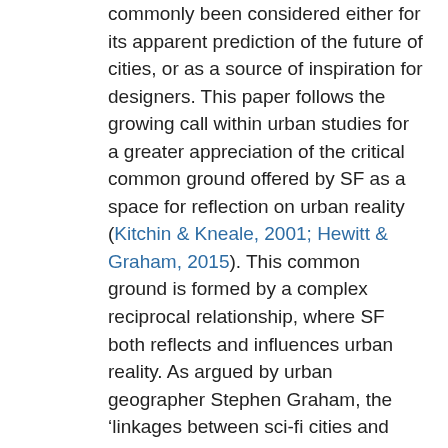commonly been considered either for its apparent prediction of the future of cities, or as a source of inspiration for designers. This paper follows the growing call within urban studies for a greater appreciation of the critical common ground offered by SF as a space for reflection on urban reality (Kitchin & Kneale, 2001; Hewitt & Graham, 2015). This common ground is formed by a complex reciprocal relationship, where SF both reflects and influences urban reality. As argued by urban geographer Stephen Graham, the 'linkages between sci-fi cities and material cityscapes that are actually constructed, lived and experienced are so dense as to make some clean separation impossible' (2016: 388). However, it is this inter-relation between real and imagined which makes SF such a potent site for urban critique.
For political and utopian theorist Frederic Jameson, radical imaginative freedom is the critical factor which differentiates SF from other forms of literary expression. This ability to imagine freely is in part rooted in the genre's 'pulp' character, its self-definition as existing outside of